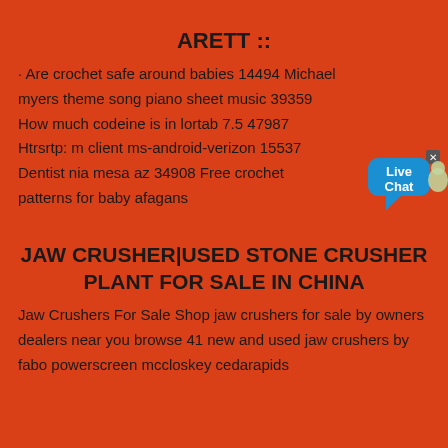ARETT ::
· Are crochet safe around babies 14494 Michael myers theme song piano sheet music 39359 How much codeine is in lortab 7.5 47987 Htrsrtp: m client ms-android-verizon 15537 Dentist nia mesa az 34908 Free crochet patterns for baby afagans
JAW CRUSHER|USED STONE CRUSHER PLANT FOR SALE IN CHINA
Jaw Crushers For Sale Shop jaw crushers for sale by owners dealers near you browse 41 new and used jaw crushers by fabo powerscreen mccloskey cedarapids